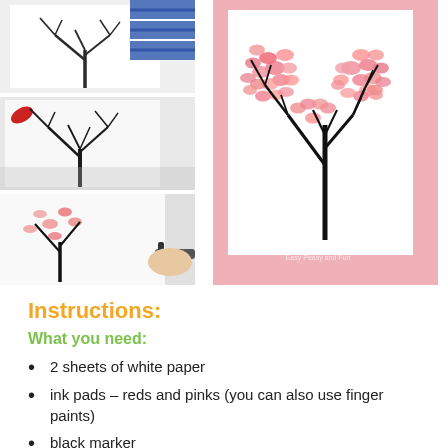[Figure (photo): Photo collage showing step-by-step process of creating a fingerprint heart tree art. Left column has three images: top shows a bare black tree branch drawn on white paper with a blue sleeve visible, middle shows a bare tree with a red leaf nearby, bottom shows a hand drawing with black marker. Right large image shows the finished artwork: a heart shape made of pink/red fingerprints forming a tree crown on a white card placed on a pink background, watermarked 'Easy Peasy and Fun']
Instructions:
What you need:
2 sheets of white paper
ink pads – reds and pinks (you can also use finger paints)
black marker